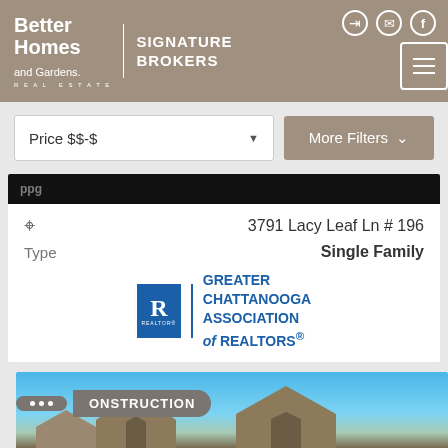[Figure (screenshot): Better Homes and Gardens Real Estate - Signature Brokers header logo with navigation icons]
[Figure (screenshot): Price filter dropdown showing 'Price $$-$' and More Filters button]
3791 Lacy Leaf Ln # 196
Type   Single Family
[Figure (logo): Greater Chattanooga Association of Realtors logo]
[Figure (photo): New Construction listing card showing house rooftops against blue sky with NEW CONSTRUCTION badge]